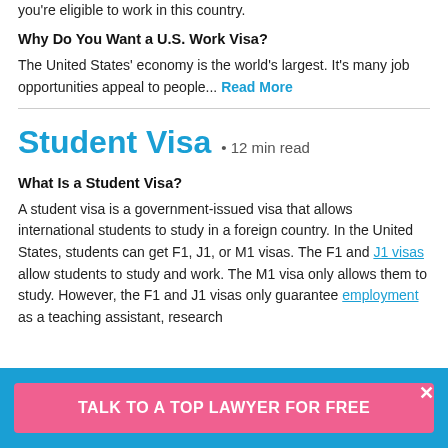you're eligible to work in this country.
Why Do You Want a U.S. Work Visa?
The United States' economy is the world's largest. It's many job opportunities appeal to people... Read More
Student Visa • 12 min read
What Is a Student Visa?
A student visa is a government-issued visa that allows international students to study in a foreign country. In the United States, students can get F1, J1, or M1 visas. The F1 and J1 visas allow students to study and work. The M1 visa only allows them to study. However, the F1 and J1 visas only guarantee employment as a teaching assistant, research
TALK TO A TOP LAWYER FOR FREE